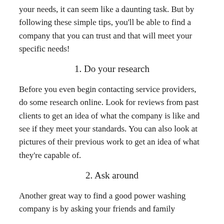your needs, it can seem like a daunting task. But by following these simple tips, you'll be able to find a company that you can trust and that will meet your specific needs!
1. Do your research
Before you even begin contacting service providers, do some research online. Look for reviews from past clients to get an idea of what the company is like and see if they meet your standards. You can also look at pictures of their previous work to get an idea of what they're capable of.
2. Ask around
Another great way to find a good power washing company is by asking your friends and family